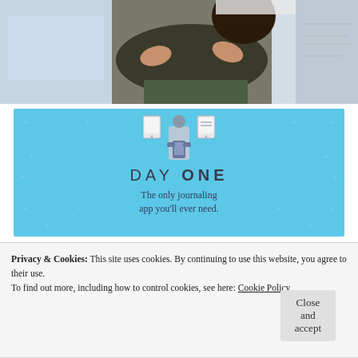[Figure (photo): Partial photo of a person in a dark outfit with arms crossed, standing in front of a white surface. Only the torso and arms are visible.]
[Figure (infographic): Day One journaling app advertisement on a blue background. Shows an illustrated person holding a phone with device icons above. Text reads 'DAY ONE' and 'The only journaling app you'll ever need.']
Privacy & Cookies: This site uses cookies. By continuing to use this website, you agree to their use.
To find out more, including how to control cookies, see here: Cookie Policy
Close and accept